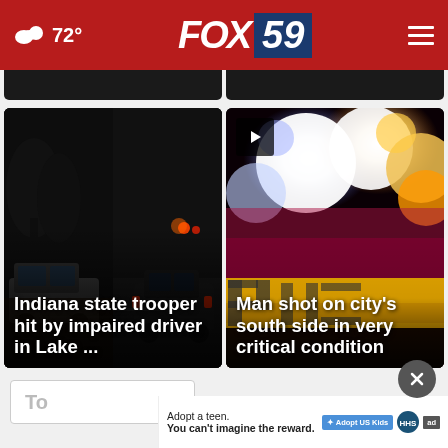72° FOX 59
[Figure (photo): Night scene with police vehicles on a dark road, trees visible]
Indiana state trooper hit by impaired driver in Lake ...
[Figure (photo): Bright police car emergency lights at night, blue, red, and yellow flares]
Man shot on city's south side in very critical condition
Top
Adopt a teen. You can't imagine the reward.